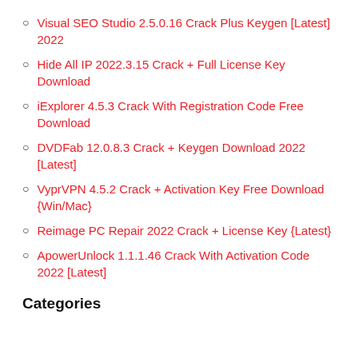Visual SEO Studio 2.5.0.16 Crack Plus Keygen [Latest] 2022
Hide All IP 2022.3.15 Crack + Full License Key Download
iExplorer 4.5.3 Crack With Registration Code Free Download
DVDFab 12.0.8.3 Crack + Keygen Download 2022 [Latest]
VyprVPN 4.5.2 Crack + Activation Key Free Download {Win/Mac}
Reimage PC Repair 2022 Crack + License Key {Latest}
ApowerUnlock 1.1.1.46 Crack With Activation Code 2022 [Latest]
Categories